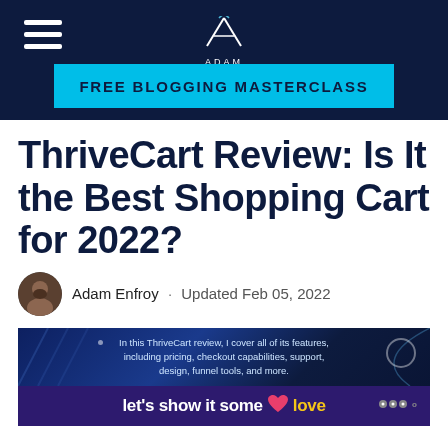Adam Enfroy - FREE BLOGGING MASTERCLASS
ThriveCart Review: Is It the Best Shopping Cart for 2022?
Adam Enfroy · Updated Feb 05, 2022
[Figure (screenshot): ThriveCart review featured image with text: In this ThriveCart review, I cover all of its features, including pricing, checkout capabilities, support, design, funnel tools, and more. Below that: let's show it some love]
In this ThriveCart review, I cover all of its features, including pricing, checkout capabilities, support, design, funnel tools, and more.